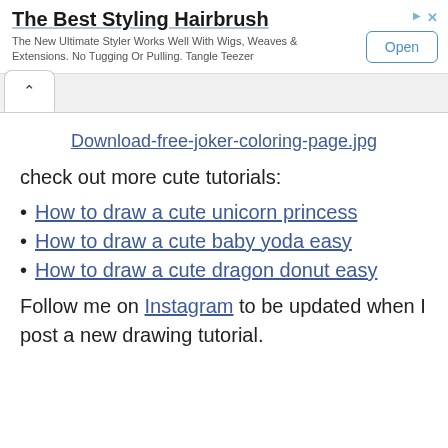[Figure (screenshot): Advertisement banner for 'The Best Styling Hairbrush' - Tangle Teezer product, with an 'Open' button and ad icons.]
[Figure (screenshot): Browser tab/back navigation area with an upward chevron arrow button.]
Download-free-joker-coloring-page.jpg
check out more cute tutorials:
How to draw a cute unicorn princess
How to draw a cute baby yoda easy
How to draw a cute dragon donut easy
Follow me on Instagram to be updated when I post a new drawing tutorial.